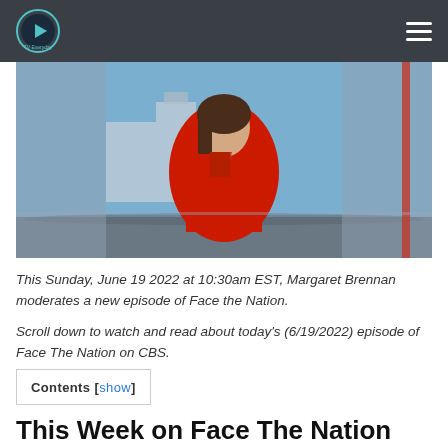TV Everyday (logo/nav bar)
[Figure (photo): Margaret Brennan seated at a news desk wearing a red blazer, with a blurred Capitol building background on a TV news set.]
This Sunday, June 19 2022 at 10:30am EST, Margaret Brennan moderates a new episode of Face the Nation.
Scroll down to watch and read about today's (6/19/2022) episode of Face The Nation on CBS.
Contents [show]
This Week on Face The Nation